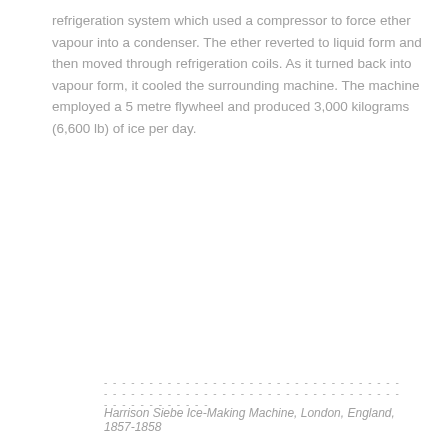refrigeration system which used a compressor to force ether vapour into a condenser. The ether reverted to liquid form and then moved through refrigeration coils. As it turned back into vapour form, it cooled the surrounding machine. The machine employed a 5 metre flywheel and produced 3,000 kilograms (6,600 lb) of ice per day.
Harrison Siebe Ice-Making Machine, London, England, 1857-1858